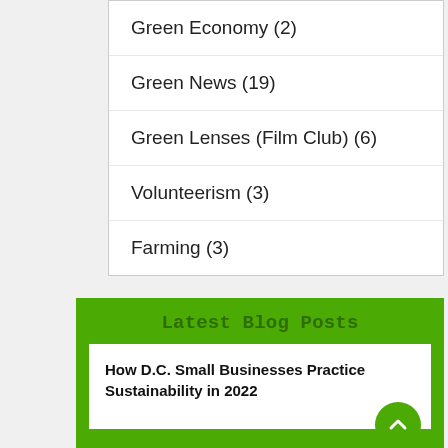Green Economy (2)
Green News (19)
Green Lenses (Film Club) (6)
Volunteerism (3)
Farming (3)
Latest Blog Posts
How D.C. Small Businesses Practice Sustainability in 2022
Relieve Climate Anxiety and Make a Difference